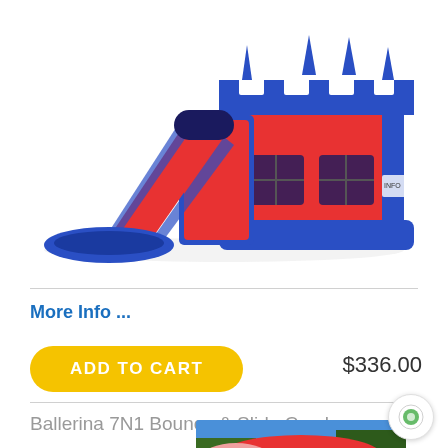[Figure (photo): Blue and red inflatable bounce house castle with a slide combo, featuring blue spires on top and a red slide on the left side.]
More Info ...
ADD TO CART
$336.00
Ballerina 7N1 Bounce & Slide Combo
[Figure (photo): Bottom portion of next product image showing a colorful inflatable against a blue sky with trees.]